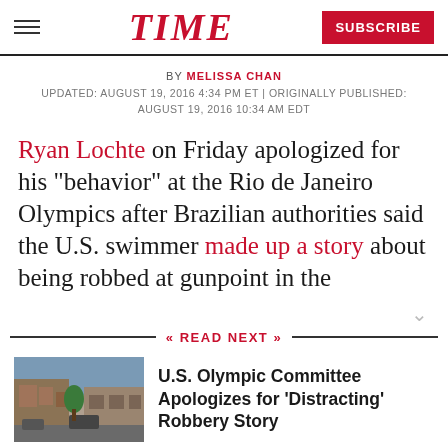TIME | SUBSCRIBE
BY MELISSA CHAN
UPDATED: AUGUST 19, 2016 4:34 PM ET | ORIGINALLY PUBLISHED: AUGUST 19, 2016 10:34 AM EDT
Ryan Lochte on Friday apologized for his “behavior” at the Rio de Janeiro Olympics after Brazilian authorities said the U.S. swimmer made up a story about being robbed at gunpoint in the
READ NEXT
U.S. Olympic Committee Apologizes for ‘Distracting’ Robbery Story